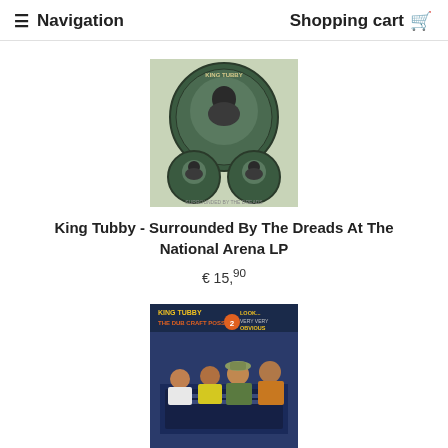≡ Navigation    Shopping cart 🛒
[Figure (photo): King Tubby - Surrounded By The Dreads At The National Arena LP album cover: circular dark green design with image of a man in center circle and two smaller circles below]
King Tubby - Surrounded By The Dreads At The National Arena LP
€ 15,90
[Figure (photo): King Tubby - The Dub Craft Posse album cover: colorful image of four men in a music studio setting with yellow and orange text on dark background]